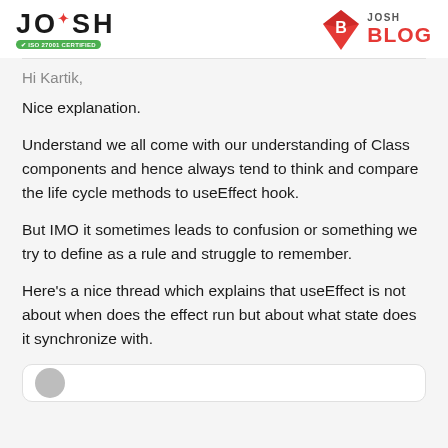JOSH | JOSH BLOG
Hi Kartik,
Nice explanation.
Understand we all come with our understanding of Class components and hence always tend to think and compare the life cycle methods to useEffect hook.
But IMO it sometimes leads to confusion or something we try to define as a rule and struggle to remember.
Here's a nice thread which explains that useEffect is not about when does the effect run but about what state does it synchronize with.